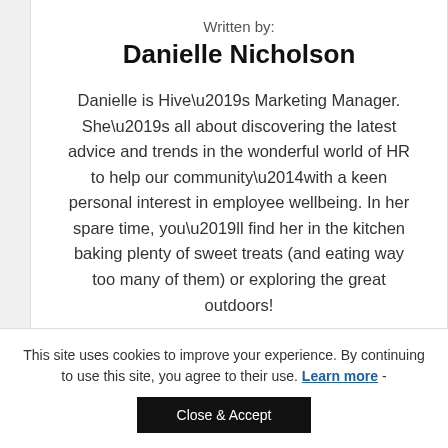Written by:
Danielle Nicholson
Danielle is Hive’s Marketing Manager. She’s all about discovering the latest advice and trends in the wonderful world of HR to help our community—with a keen personal interest in employee wellbeing. In her spare time, you’ll find her in the kitchen baking plenty of sweet treats (and eating way too many of them) or exploring the great outdoors!
This site uses cookies to improve your experience. By continuing to use this site, you agree to their use. Learn more -
Close & Accept